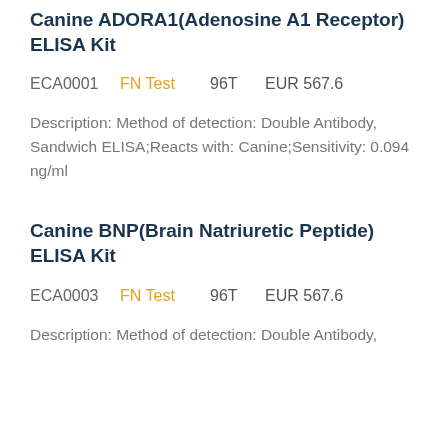Canine ADORA1(Adenosine A1 Receptor) ELISA Kit
ECA0001    FN Test    96T    EUR 567.6
Description: Method of detection: Double Antibody, Sandwich ELISA;Reacts with: Canine;Sensitivity: 0.094 ng/ml
Canine BNP(Brain Natriuretic Peptide) ELISA Kit
ECA0003    FN Test    96T    EUR 567.6
Description: Method of detection: Double Antibody,